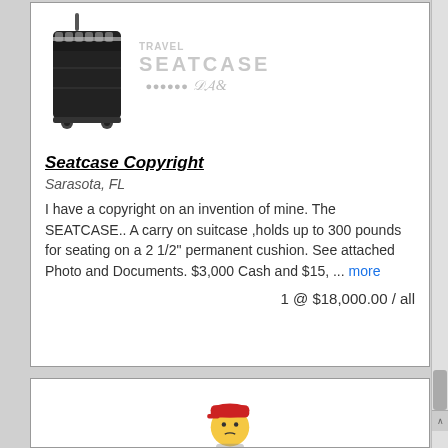[Figure (photo): Photo of a rolling suitcase (SEATCASE) with brand logo text beside it]
Seatcase Copyright
Sarasota, FL
I have a copyright on an invention of mine. The SEATCASE.. A carry on suitcase ,holds up to 300 pounds for seating on a 2 1/2" permanent cushion. See attached Photo and Documents. $3,000 Cash and $15, ... more
1 @ $18,000.00 / all
[Figure (illustration): Cartoon character wearing a red cap]